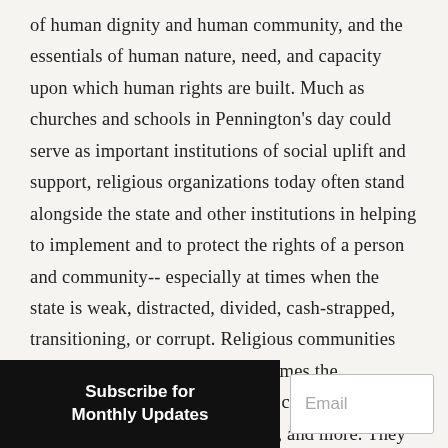of human dignity and human community, and the essentials of human nature, need, and capacity upon which human rights are built. Much as churches and schools in Pennington's day could serve as important institutions of social uplift and support, religious organizations today often stand alongside the state and other institutions in helping to implement and to protect the rights of a person and community-- especially at times when the state is weak, distracted, divided, cash-strapped, transitioning, or corrupt. Religious communities can create the conditions (sometimes the prototypes) for the realization of civil and political rights of speech, press, assembly, and more. They can provide a critical (and sometimes the principal) means of education, healthcare, childcare, labor organizations, employment, and artistic
Subscribe for Monthly Updates
Email